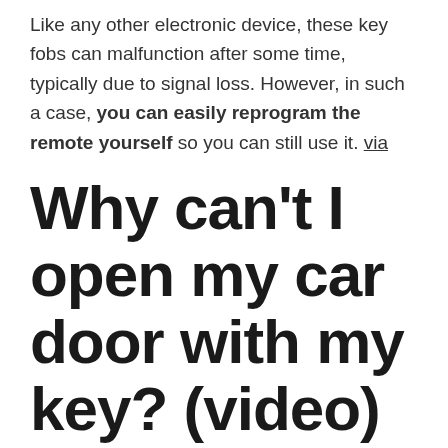Like any other electronic device, these key fobs can malfunction after some time, typically due to signal loss. However, in such a case, you can easily reprogram the remote yourself so you can still use it. via
Why can't I open my car door with my key? (video)
https://www.youtube.com/watch?v=nCBcukqhyh8